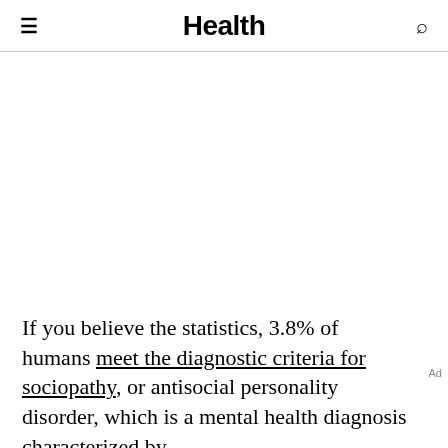Health
If you believe the statistics, 3.8% of humans meet the diagnostic criteria for sociopathy, or antisocial personality disorder, which is a mental health diagnosis characterized by